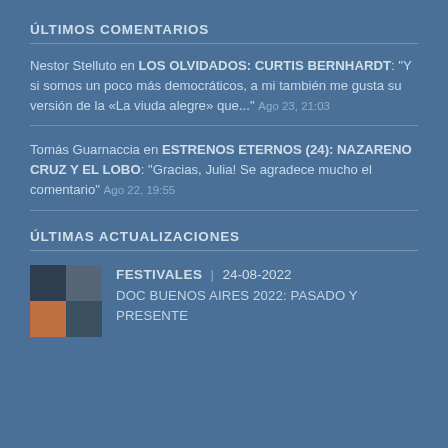ÚLTIMOS COMENTARIOS
Nestor Stelluto en LOS OLVIDADOS: CURTIS BERNHARDT: "Y si somos un poco más democráticos, a mi también me gusta su versión de la «La viuda alegre» que..." Ago 23, 21:03
Tomás Guarnaccia en ESTRENOS ETERNOS (24): NAZARENO CRUZ Y EL LOBO: "Gracias, Julia! Se agradece mucho el comentario" Ago 22, 19:55
ÚLTIMAS ACTUALIZACIONES
[Figure (photo): Thumbnail collage of four images for DOC BUENOS AIRES 2022 article]
FESTIVALES | 24-08-2022
DOC BUENOS AIRES 2022: PASADO Y PRESENTE